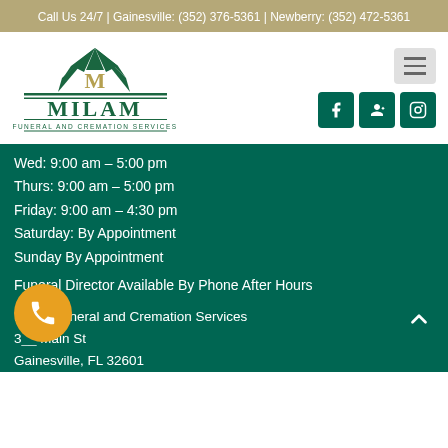Call Us 24/7 | Gainesville: (352) 376-5361 | Newberry: (352) 472-5361
[Figure (logo): Milam Funeral and Cremation Services logo with green fan/leaf design and bold green text on white background]
Wed: 9:00 am – 5:00 pm
Thurs: 9:00 am – 5:00 pm
Friday: 9:00 am – 4:30 pm
Saturday: By Appointment
Sunday By Appointment
Funeral Director Available By Phone After Hours
Milam Funeral and Cremation Services
3___ Main St
Gainesville, FL 32601